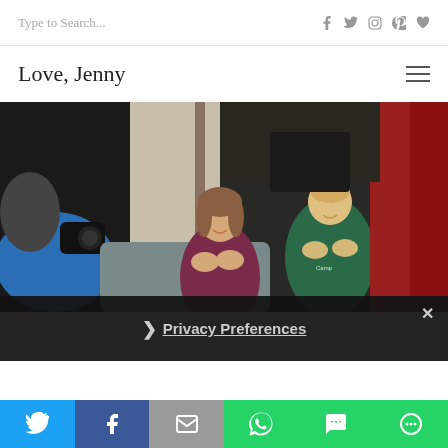Type to Search...
Love, Jenny
[Figure (photo): Two young children sitting on a couch, a girl in a maroon fleece jacket clapping and smiling, a boy in a green shirt clapping, with an adult in blue holding a camera on the left and a red coat visible on the right]
Privacy Preferences
Share buttons: Twitter, Facebook, Email, WhatsApp, SMS, More